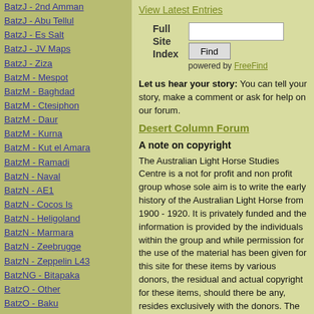BatzJ - 2nd Amman
BatzJ - Abu Tellul
BatzJ - Es Salt
BatzJ - JV Maps
BatzJ - Ziza
BatzM - Mespot
BatzM - Baghdad
BatzM - Ctesiphon
BatzM - Daur
BatzM - Kurna
BatzM - Kut el Amara
BatzM - Ramadi
BatzN - Naval
BatzN - AE1
BatzN - Cocos Is
BatzN - Heligoland
BatzN - Marmara
BatzN - Zeebrugge
BatzN - Zeppelin L43
BatzNG - Bitapaka
BatzO - Other
BatzO - Baku
BatzO - Egypt 1919
BatzO - Emptsa
BatzO - Karawaran
BatzO - Peitang
BatzO - Wassa
BatzP - Palestine
View Latest Entries
Full Site Index Find powered by FreeFind
Let us hear your story: You can tell your story, make a comment or ask for help on our forum.
Desert Column Forum
A note on copyright
The Australian Light Horse Studies Centre is a not for profit and non profit group whose sole aim is to write the early history of the Australian Light Horse from 1900 - 1920. It is privately funded and the information is provided by the individuals within the group and while permission for the use of the material has been given for this site for these items by various donors, the residual and actual copyright for these items, should there be any, resides exclusively with the donors. The information on this site is freely available for private research use only and if used as such, should be appropriately